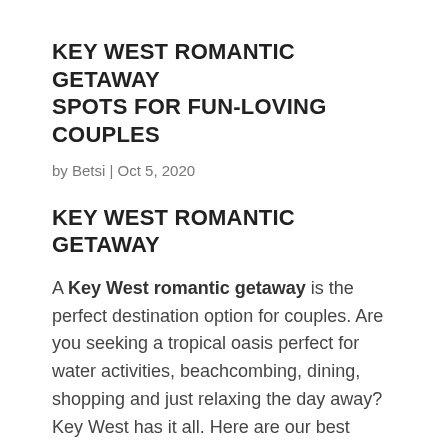KEY WEST ROMANTIC GETAWAY SPOTS FOR FUN-LOVING COUPLES
by Betsi | Oct 5, 2020
KEY WEST ROMANTIC GETAWAY
A Key West romantic getaway is the perfect destination option for couples. Are you seeking a tropical oasis perfect for water activities, beachcombing, dining, shopping and just relaxing the day away? Key West has it all. Here are our best spots for a Key West romantic